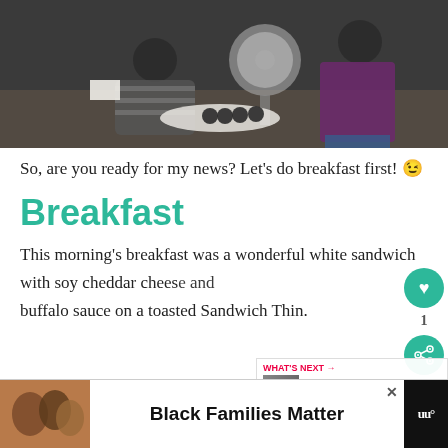[Figure (photo): Two people sitting on the floor with food, and a person in a purple sweater standing near a fan]
So, are you ready for my news? Let’s do breakfast first! 😉
Breakfast
This morning’s breakfast was a wonderful white sandwich with soy cheddar cheese and buffalo sauce on a toasted Sandwich Thin.
[Figure (screenshot): What's Next widget: 9 Stroller Workouts To...]
[Figure (photo): Ad banner: Black Families Matter with photo of children, and a close button and logo]